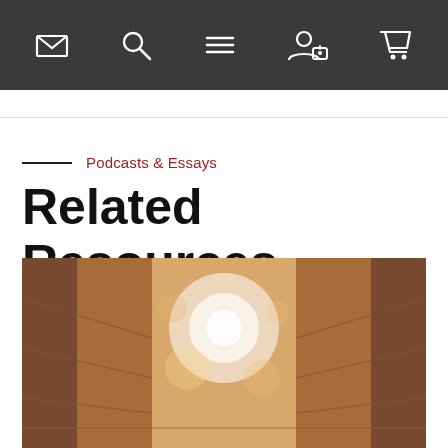Navigation bar with icons: mail, search, menu, user/login, cart
Podcasts & Essays
Related Resources
[Figure (photo): Blurred bokeh photo of a library aisle with bookshelves on both sides, warm orange and white tones, bright light at the end of the aisle]